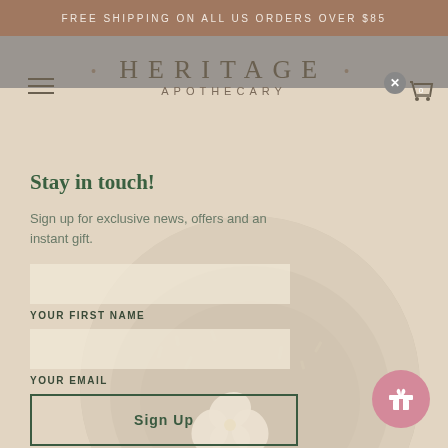FREE SHIPPING ON ALL US ORDERS OVER $85
[Figure (logo): Heritage Apothecary logo with decorative dots and serif typography]
Stay in touch!
Sign up for exclusive news, offers and an instant gift.
YOUR FIRST NAME
YOUR EMAIL
Sign Up
[Figure (photo): Overhead view of a wooden bowl filled with dried herbs, flowers and botanicals with white orchid flower, overlaid with semi-transparent signup form]
[Figure (illustration): Pink circular gift button in bottom right corner with gift box icon]